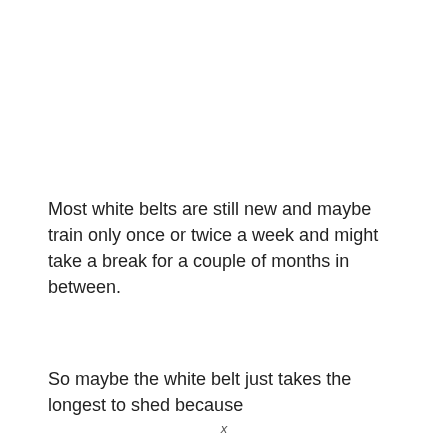Most white belts are still new and maybe train only once or twice a week and might take a break for a couple of months in between.
So maybe the white belt just takes the longest to shed because
x